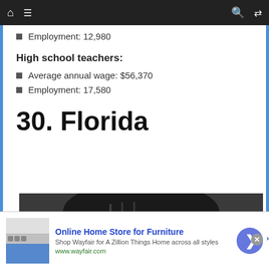Navigation bar with home, menu, search, shuffle icons
Employment: 12,980
High school teachers:
Average annual wage: $56,370
Employment: 17,580
30. Florida
[Figure (photo): Child with dark hair looking up toward camera, dark background, partially cropped]
infolinks
Online Home Store for Furniture
Shop Wayfair for A Zillion Things Home across all styles
www.wayfair.com